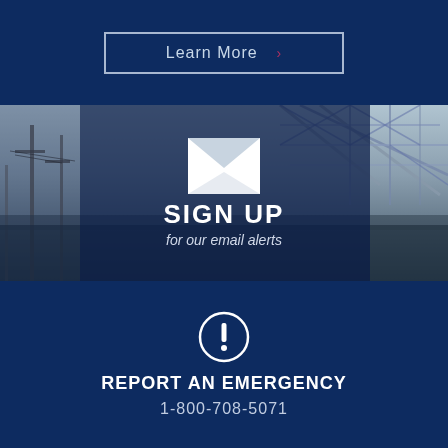Learn More >
[Figure (infographic): Email signup section with envelope icon over industrial/bridge background photo. Text: SIGN UP for our email alerts]
SIGN UP
for our email alerts
[Figure (infographic): Report an emergency section with exclamation circle icon on dark navy background]
REPORT AN EMERGENCY
1-800-708-5071